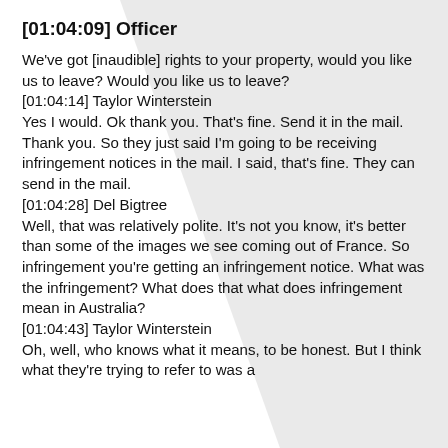[01:04:09] Officer
We've got [inaudible] rights to your property, would you like us to leave? Would you like us to leave?
[01:04:14] Taylor Winterstein
Yes I would. Ok thank you. That's fine. Send it in the mail. Thank you. So they just said I'm going to be receiving infringement notices in the mail. I said, that's fine. They can send in the mail.
[01:04:28] Del Bigtree
Well, that was relatively polite. It's not you know, it's better than some of the images we see coming out of France. So infringement you're getting an infringement notice. What was the infringement? What does that what does infringement mean in Australia?
[01:04:43] Taylor Winterstein
Oh, well, who knows what it means, to be honest. But I think what they're trying to refer to was a